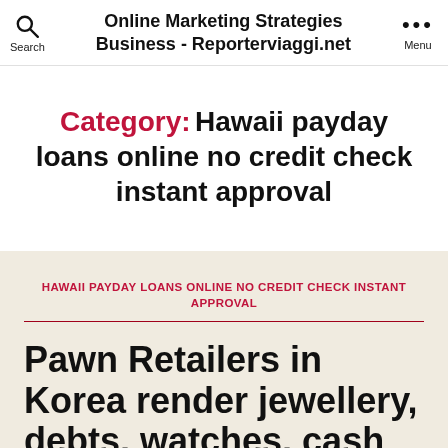Online Marketing Strategies Business - Reporterviaggi.net
Category: Hawaii payday loans online no credit check instant approval
HAWAII PAYDAY LOANS ONLINE NO CREDIT CHECK INSTANT APPROVAL
Pawn Retailers in Korea render jewellery, debts, watches, cash for gold &